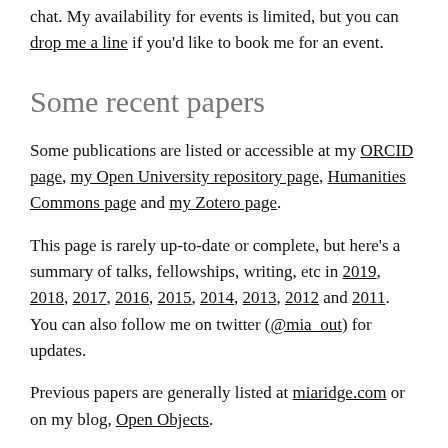chat. My availability for events is limited, but you can drop me a line if you'd like to book me for an event.
Some recent papers
Some publications are listed or accessible at my ORCID page, my Open University repository page, Humanities Commons page and my Zotero page.
This page is rarely up-to-date or complete, but here's a summary of talks, fellowships, writing, etc in 2019, 2018, 2017, 2016, 2015, 2014, 2013, 2012 and 2011. You can also follow me on twitter (@mia_out) for updates.
Previous papers are generally listed at miaridge.com or on my blog, Open Objects.